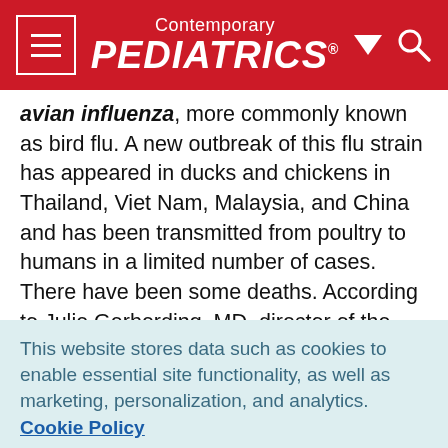Contemporary PEDIATRICS
avian influenza, more commonly known as bird flu. A new outbreak of this flu strain has appeared in ducks and chickens in Thailand, Viet Nam, Malaysia, and China and has been transmitted from poultry to humans in a limited number of cases. There have been some deaths. According to Julie Gerberding, MD, director of the Centers for Disease Control and Prevention (CDC), the outbreak is "a statistical time bomb ticking." Person-to-person transmission has not been documented, but the avian virus appears to be evolving
This website stores data such as cookies to enable essential site functionality, as well as marketing, personalization, and analytics. Cookie Policy
Accept
Deny